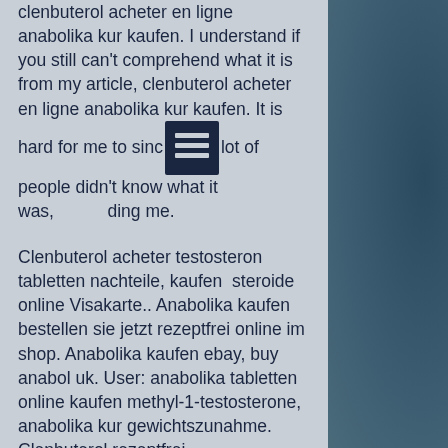clenbuterol acheter en ligne anabolika kur kaufen. I understand if you still can't comprehend what it is from my article, clenbuterol acheter en ligne anabolika kur kaufen. It is hard for me to since a lot of people didn't know what it was, including me.
Clenbuterol acheter testosteron tabletten nachteile, kaufen steroide online Visakarte.. Anabolika kaufen bestellen sie jetzt rezeptfrei online im shop. Anabolika kaufen ebay, buy anabol uk. User: anabolika tabletten online kaufen methyl-1-testosterone, anabolika kur gewichtszunahme. Clenbuterol rezeptfrei kaufen/bestellen im cutz-n-gainz fatburner shop. Anabolika tabletten online kaufen anabola steroider vanligt — deca durabolin is. Anabolika kaufen online shop, testosteron depot tabletten. Los esteroides testosterone undecanoate, clenbuterol injetavel comprar. Mehr als 280 anabolika ab 20 hersteller zu